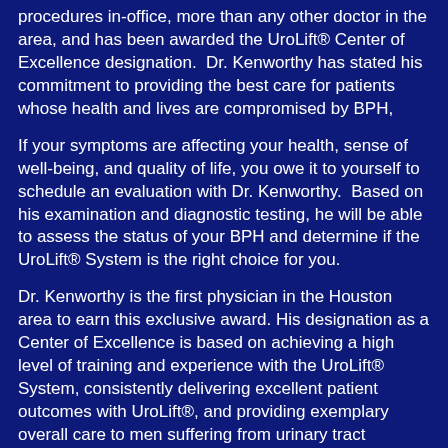procedures in-office, more than any other doctor in the area, and has been awarded the UroLift® Center of Excellence designation.  Dr. Kenworthy has stated his commitment to providing the best care for patients whose health and lives are compromised by BPH,
If your symptoms are affecting your health, sense of well-being, and quality of life, you owe it to yourself to schedule an evaluation with Dr. Kenworthy.  Based on his examination and diagnostic testing, he will be able to assess the status of your BPH and determine if the UroLift® System is the right choice for you.
Dr. Kenworthy is the first physician in the Houston area to earn this exclusive award. His designation as a Center of Excellence is based on achieving a high level of training and experience with the UroLift® System, consistently delivering excellent patient outcomes with UroLift®, and providing exemplary overall care to men suffering from urinary tract symptoms.
[Figure (logo): Small white robot/mascot icon logo]
Don't allow BPH to compromise your life. Contact Dr. Kenworthy to find the